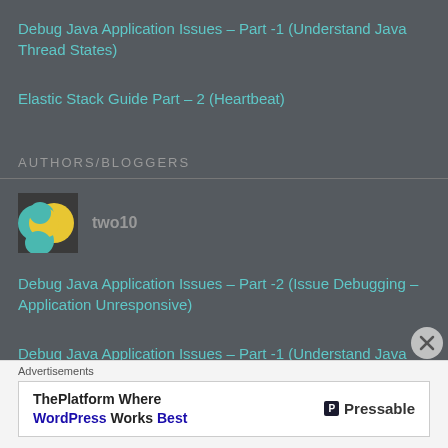Debug Java Application Issues – Part -1 (Understand Java Thread States)
Elastic Stack Guide Part – 2 (Heartbeat)
AUTHORS/BLOGGERS
[Figure (illustration): Author avatar showing a teal/green head silhouette with a yellow crescent shape on dark background]
two10
Debug Java Application Issues – Part -2 (Issue Debugging – Application Unresponsive)
Debug Java Application Issues – Part -1 (Understand Java Thread States)
Advertisements
[Figure (infographic): Pressable advertisement banner: ThePlatform Where WordPress Works Best]